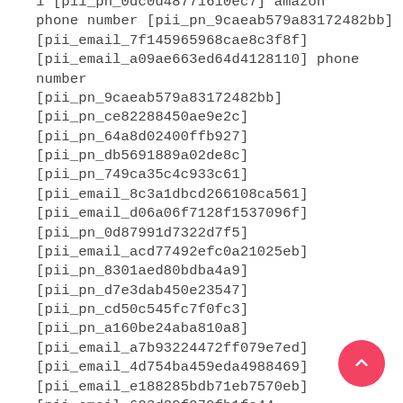1 [pii_pn_0dc0d48771610ec7] amazon phone number [pii_pn_9caeab579a83172482bb]
[pii_email_7f145965968cae8c3f8f]
[pii_email_a09ae663ed64d4128110] phone number [pii_pn_9caeab579a83172482bb]
[pii_pn_ce82288450ae9e2c] [pii_pn_64a8d02400ffb927]
[pii_pn_db5691889a02de8c] [pii_pn_749ca35c4c933c61]
[pii_email_8c3a1dbcd266108ca561]
[pii_email_d06a06f7128f1537096f]
[pii_pn_0d87991d7322d7f5]
[pii_email_acd77492efc0a21025eb]
[pii_pn_8301aed80bdba4a9] [pii_pn_d7e3dab450e23547]
[pii_pn_cd50c545fc7f0fc3] [pii_pn_a160be24aba810a8]
[pii_email_a7b93224472ff079e7ed]
[pii_email_4d754ba459eda4988469]
[pii_email_e188285bdb71eb7570eb]
[pii_email_603d29f079fb1fc44...